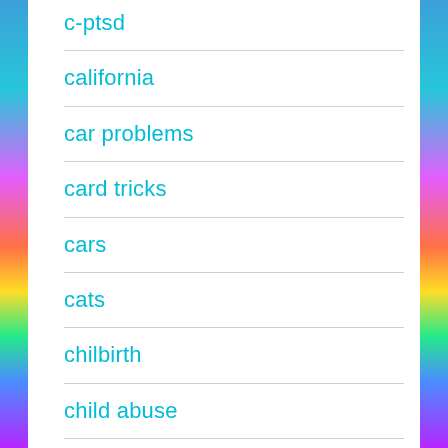c-ptsd
california
car problems
card tricks
cars
cats
chilbirth
child abuse
children